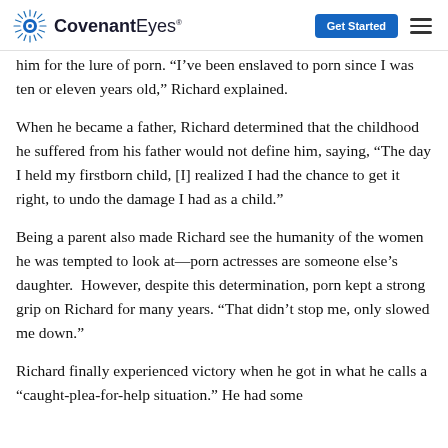CovenantEyes | Get Started
him for the lure of porn. “I’ve been enslaved to porn since I was ten or eleven years old,” Richard explained.
When he became a father, Richard determined that the childhood he suffered from his father would not define him, saying, “The day I held my firstborn child, [I] realized I had the chance to get it right, to undo the damage I had as a child.”
Being a parent also made Richard see the humanity of the women he was tempted to look at—porn actresses are someone else’s daughter.  However, despite this determination, porn kept a strong grip on Richard for many years. “That didn’t stop me, only slowed me down.”
Richard finally experienced victory when he got in what he calls a “caught-plea-for-help situation.” He had some